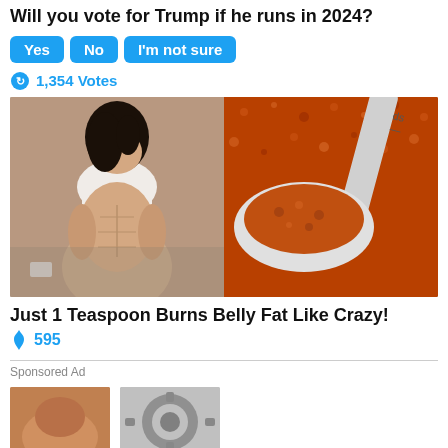Will you vote for Trump if he runs in 2024?
Yes
No
I'm not sure
1,354 Votes
[Figure (photo): Left half: fit woman in white sports bra showing toned abs, looking down. Right half: a metal measuring spoon filled with orange spice/powder.]
Just 1 Teaspoon Burns Belly Fat Like Crazy!
595
Sponsored Ad
[Figure (photo): Bottom left: partial photo of person's torso. Bottom right: partial photo of a mechanical gear or similar object.]